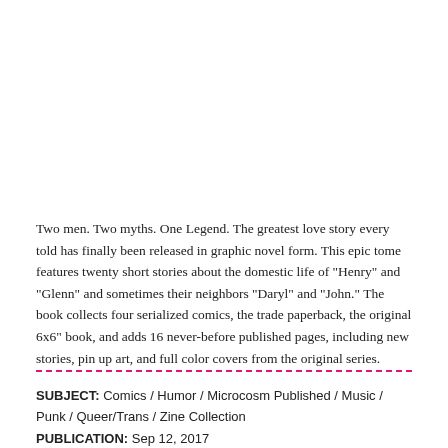Two men. Two myths. One Legend. The greatest love story every told has finally been released in graphic novel form. This epic tome features twenty short stories about the domestic life of "Henry" and "Glenn" and sometimes their neighbors "Daryl" and "John." The book collects four serialized comics, the trade paperback, the original 6x6" book, and adds 16 never-before published pages, including new stories, pin up art, and full color covers from the original series.
SUBJECT: Comics / Humor / Microcosm Published / Music / Punk / Queer/Trans / Zine Collection
PUBLICATION: Sep 12, 2017
PRICE: $19.95